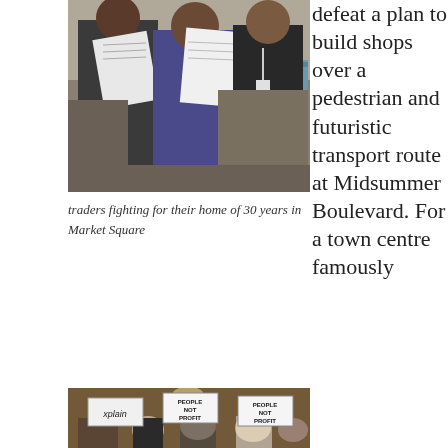[Figure (photo): Two people holding papers/documents at an outdoor market, fighting for their home of 30 years in Market Square]
traders fighting for their home of 30 years in Market Square
[Figure (photo): People at a public meeting holding signs reading 'xplain', 'PEOPLE NOT PROFIT' protesting a plan to build shops over a pedestrian and futuristic transport route at Midsummer Boulevard]
defeat a plan to build shops over a pedestrian and futuristic transport route at Midsummer Boulevard. For a town centre famously